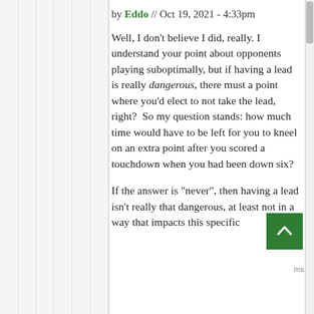by Eddo // Oct 19, 2021 - 4:33pm
Well, I don't believe I did, really. I understand your point about opponents playing suboptimally, but if having a lead is really dangerous, there must a point where you'd elect to not take the lead, right?  So my question stands: how much time would have to be left for you to kneel on an extra point after you scored a touchdown when you had been down six?
If the answer is "never", then having a lead isn't really that dangerous, at least not in a way that impacts this specific